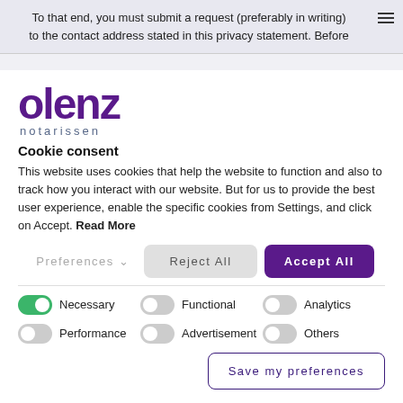To that end, you must submit a request (preferably in writing) to the contact address stated in this privacy statement. Before
[Figure (screenshot): Olenz notarissen logo with purple stylized text 'olenz' and smaller text 'notarissen' below]
Cookie consent
This website uses cookies that help the website to function and also to track how you interact with our website. But for us to provide the best user experience, enable the specific cookies from Settings, and click on Accept. Read More
Preferences ▾   Reject All   Accept All
Necessary   Functional   Analytics   Performance   Advertisement   Others
Save my preferences